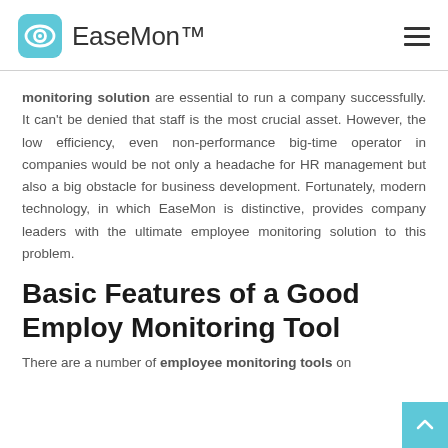EaseMon™
monitoring solution are essential to run a company successfully. It can't be denied that staff is the most crucial asset. However, the low efficiency, even non-performance big-time operator in companies would be not only a headache for HR management but also a big obstacle for business development. Fortunately, modern technology, in which EaseMon is distinctive, provides company leaders with the ultimate employee monitoring solution to this problem.
Basic Features of a Good Employ Monitoring Tool
There are a number of employee monitoring tools on